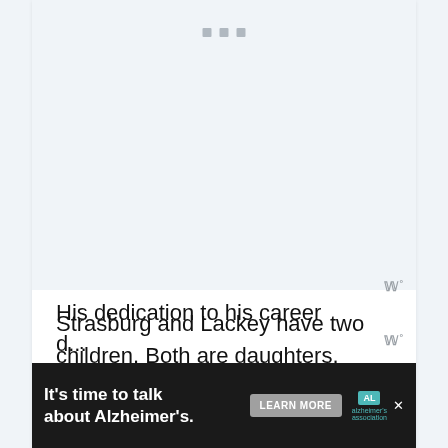[Figure (other): Large white/light gray empty content area at the top of the card, likely a loading or blank media placeholder with three small gray square dots at the top center]
Strasburg and Lackey have two children. Both are daughters. Strasburg is a devoted father.
His dedication to his career...
[Figure (other): Advertisement banner: 'It's time to talk about Alzheimer's.' with a LEARN MORE button and Alzheimer's Association logo]